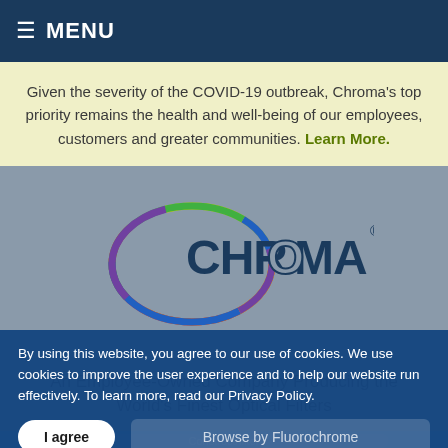≡ MENU
Given the severity of the COVID-19 outbreak, Chroma's top priority remains the health and well-being of our employees, customers and greater communities. Learn More.
[Figure (logo): Chroma Technology logo with rainbow ellipse and bold CHROMA text]
An Employee-Owned Company Producing the World's Finest Optical Filters
By using this website, you agree to our use of cookies. We use cookies to improve the user experience and to help our website run effectively. To learn more, read our Privacy Policy.
I agree
Browse by Fluorochrome
Construct/filter